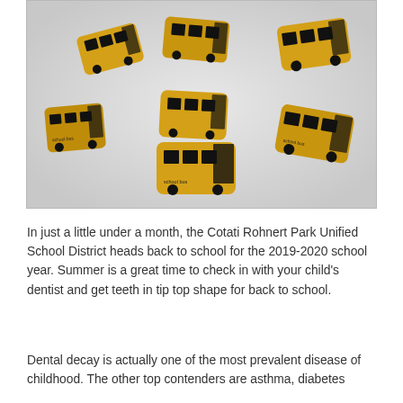[Figure (photo): Multiple small gold-foil wrapped chocolate candies shaped like school buses, with black windows and wheels printed on the wrapper, arranged on a white background.]
In just a little under a month, the Cotati Rohnert Park Unified School District heads back to school for the 2019-2020 school year. Summer is a great time to check in with your child's dentist and get teeth in tip top shape for back to school.
Dental decay is actually one of the most prevalent disease of childhood. The other top contenders are asthma, diabetes